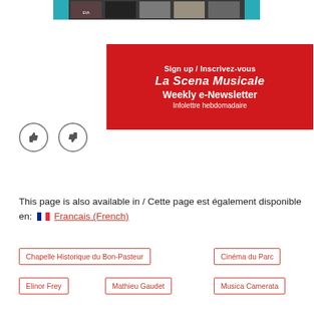[Figure (infographic): Red banner advertisement for La Scena Musicale Weekly e-Newsletter / Infolettre hebdomadaire with a strip of album cover images above]
[Figure (infographic): Two circular thumb buttons: thumbs up and thumbs down]
This page is also available in / Cette page est également disponible en: 🇫🇷 Francais (French)
Chapelle Historique du Bon-Pasteur
Cinéma du Parc
Elinor Frey
Mathieu Gaudet
Musica Camerata